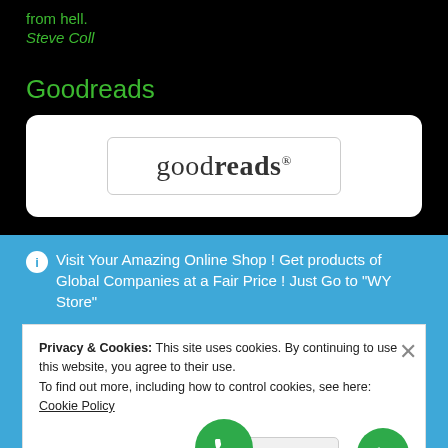from hell.
Steve Coll
Goodreads
[Figure (logo): Goodreads logo inside a rounded rectangle white box, with the word 'goodreads' in serif font inside a thin bordered rectangle.]
Visit Your Amazing Online Shop ! Get products of Global Companies at a Fair Price ! Just Go to "WY Store"
Privacy & Cookies: This site uses cookies. By continuing to use this website, you agree to their use. To find out more, including how to control cookies, see here: Cookie Policy
Close and ac